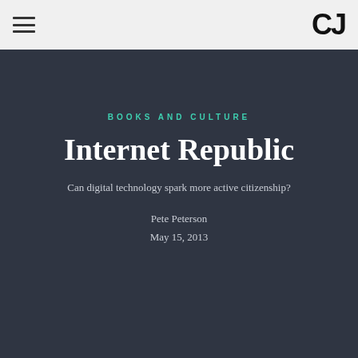CJ
BOOKS AND CULTURE
Internet Republic
Can digital technology spark more active citizenship?
Pete Peterson
May 15, 2013